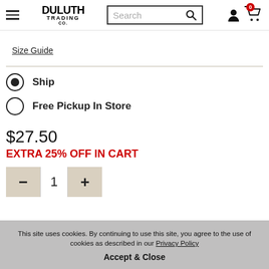[Figure (screenshot): Duluth Trading Co. website header with hamburger menu, logo, search bar, account icon, and cart icon with badge showing 0]
Size Guide
Ship (selected radio button)
Free Pickup In Store (unselected radio button)
$27.50
EXTRA 25% OFF IN CART
[Figure (infographic): Quantity selector with minus button, value 1, and plus button]
This site uses cookies. By continuing to use this site, you agree to the use of cookies as described in our Privacy Policy
Accept & Close